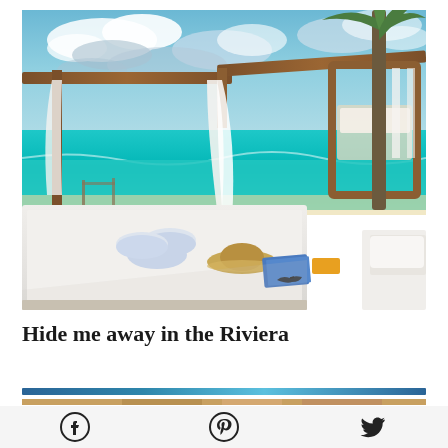[Figure (photo): Beach cabana scene with white lounge beds in the foreground, rolled white towels, a straw hat, sunglasses and colorful items on the bed. Wooden pergola structure overhead with white draping curtains. Turquoise Caribbean sea and blue sky with clouds visible in the background. A palm tree is visible on the right side.]
Hide me away in the Riviera
[Figure (photo): Partial image at the bottom of the next content item, cropped at the bottom edge of the page.]
[Figure (infographic): Social media icons row: Facebook (circle with f), Pinterest (circle with P/pin), Twitter (bird icon)]